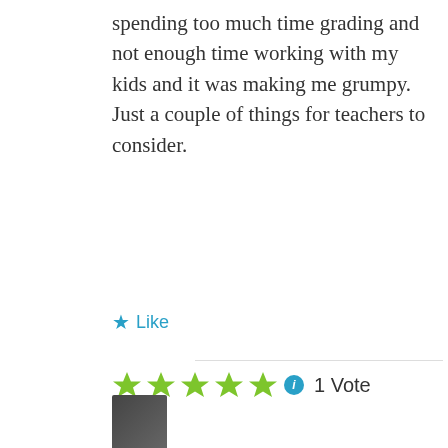spending too much time grading and not enough time working with my kids and it was making me grumpy. Just a couple of things for teachers to consider.
★ Like
[Figure (other): Five green stars rating widget with info circle icon and '1 Vote' label]
Reply
[Figure (photo): Small avatar/profile photo thumbnail at bottom left]